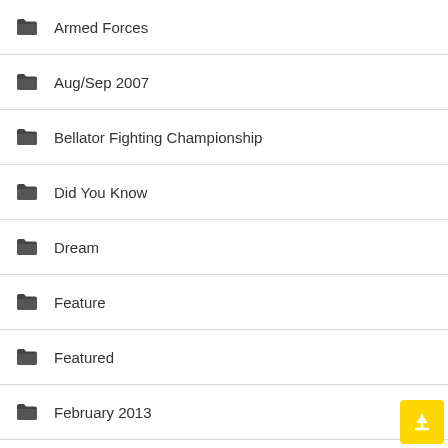Armed Forces
Aug/Sep 2007
Bellator Fighting Championship
Did You Know
Dream
Feature
Featured
February 2013
FIGHT! DOCTOR
FIGHT! Life
FIGHT! Promotion
FIGHT! UK
Fighting Fit